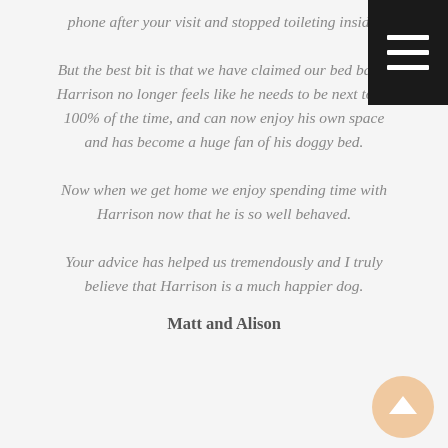phone after your visit and stopped toileting inside.
But the best bit is that we have claimed our bed back! Harrison no longer feels like he needs to be next to us 100% of the time, and can now enjoy his own space and has become a huge fan of his doggy bed.
Now when we get home we enjoy spending time with Harrison now that he is so well behaved.
Your advice has helped us tremendously and I truly believe that Harrison is a much happier dog.
Matt and Alison